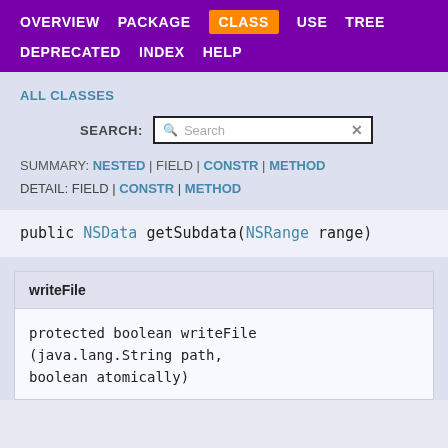OVERVIEW  PACKAGE  CLASS  USE  TREE  DEPRECATED  INDEX  HELP
ALL CLASSES
SEARCH:  Search
SUMMARY: NESTED | FIELD | CONSTR | METHOD
DETAIL: FIELD | CONSTR | METHOD
writeFile